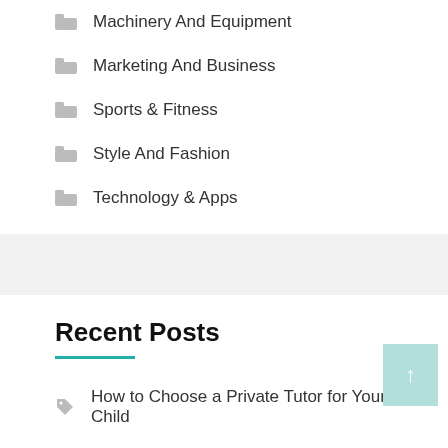Machinery And Equipment
Marketing And Business
Sports & Fitness
Style And Fashion
Technology & Apps
Recent Posts
How to Choose a Private Tutor for Your Child
A Guide To Syringes & Needles